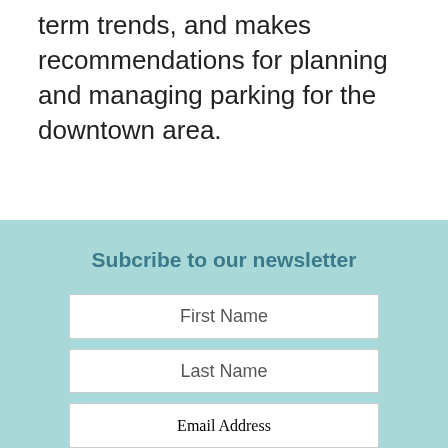term trends, and makes recommendations for planning and managing parking for the downtown area.
Subcribe to our newsletter
First Name
Last Name
Email Address